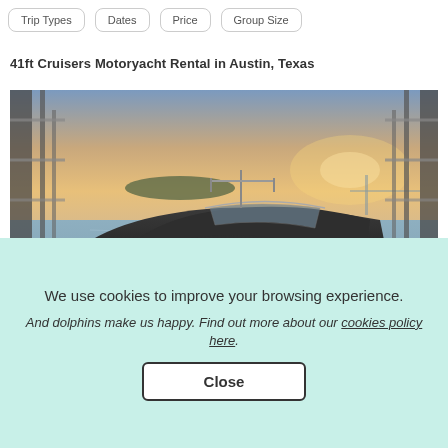Trip Types | Dates | Price | Group Size
41ft Cruisers Motoryacht Rental in Austin, Texas
[Figure (photo): A dark-hulled motoryacht docked in a marina at sunset, with dock structures on both sides and a calm water background with colorful sky]
We use cookies to improve your browsing experience.
And dolphins make us happy. Find out more about our cookies policy here.
Close